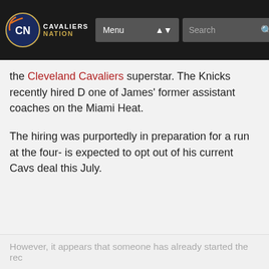Cavaliers Nation — Menu | Search
the Cleveland Cavaliers superstar. The Knicks recently hired D one of James' former assistant coaches on the Miami Heat.
The hiring was purportedly in preparation for a run at the four- is expected to opt out of his current Cavs deal this July.
However, it appears that someone has already started the rec